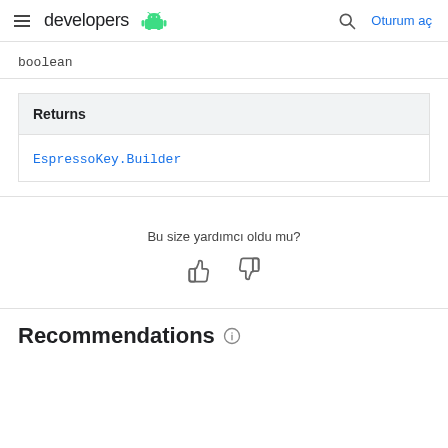developers  Oturum aç
boolean
| Returns |
| --- |
| EspressoKey.Builder |
Bu size yardımcı oldu mu?
Recommendations